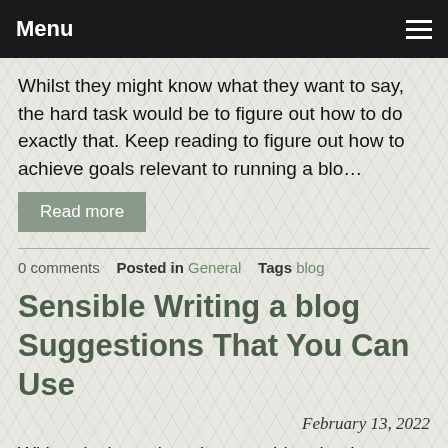Menu
Whilst they might know what they want to say, the hard task would be to figure out how to do exactly that. Keep reading to figure out how to achieve goals relevant to running a blo…
Read more
0 comments  Posted in General  Tags blog
Sensible Writing a blog Suggestions That You Can Use
February 13, 2022
With today's engineering age, blogging has grown to be an